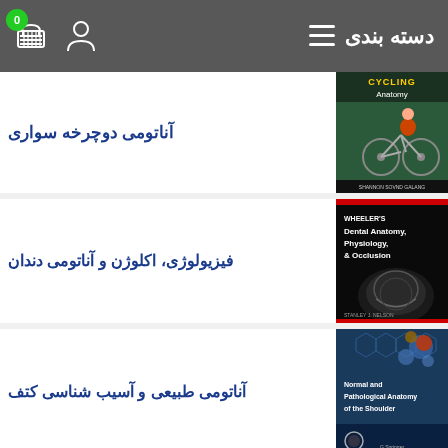دسته بندی
آناتومی دوچرخه سواری
فیزیولوژی، اکلوژن و آناتومی دندان
آناتومی طبیعی و آسیب شناسی کتف